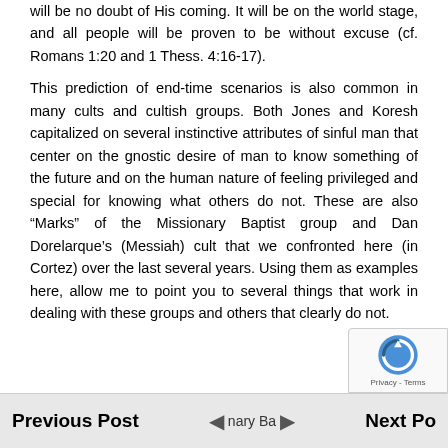will be no doubt of His coming. It will be on the world stage, and all people will be proven to be without excuse (cf. Romans 1:20 and 1 Thess. 4:16-17).
This prediction of end-time scenarios is also common in many cults and cultish groups. Both Jones and Koresh capitalized on several instinctive attributes of sinful man that center on the gnostic desire of man to know something of the future and on the human nature of feeling privileged and special for knowing what others do not. These are also “Marks” of the Missionary Baptist group and Dan Dorelarque’s (Messiah) cult that we confronted here (in Cortez) over the last several years. Using them as examples here, allow me to point you to several things that work in dealing with these groups and others that clearly do not.
Previous Post   ◄ nary Ba ►   Next Po